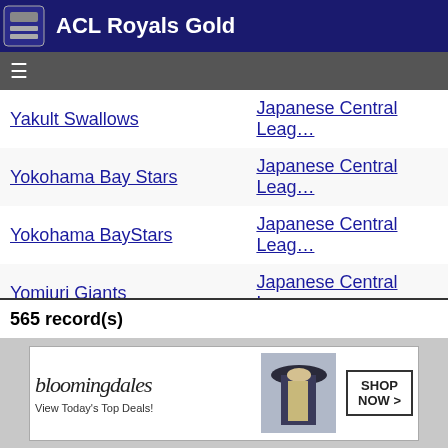ACL Royals Gold
| Team | League |
| --- | --- |
| Yakult Swallows | Japanese Central League |
| Yokohama Bay Stars | Japanese Central League |
| Yokohama BayStars | Japanese Central League |
| Yomiuri Giants | Japanese Central League |
| Yuba-Sutter Gold Sox | Western League |
| Yucatan Leones | Mexican League |
| Yuma Bullfrogs | Western League |
| Yuma Scorpions | Golden League |
| Yuma Scorpions | North American League |
| Zion Pioneerzz | Western League |
565 record(s)
[Figure (screenshot): Bloomingdale's advertisement: View Today's Top Deals! SHOP NOW >]